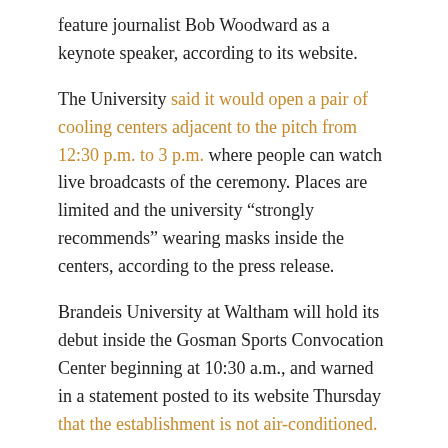feature journalist Bob Woodward as a keynote speaker, according to its website.
The University said it would open a pair of cooling centers adjacent to the pitch from 12:30 p.m. to 3 p.m. where people can watch live broadcasts of the ceremony. Places are limited and the university “strongly recommends” wearing masks inside the centers, according to the press release.
Brandeis University at Waltham will hold its debut inside the Gosman Sports Convocation Center beginning at 10:30 a.m., and warned in a statement posted to its website Thursday that the establishment is not air-conditioned.
“While our Facilities Services team will do everything possible to keep the air circulating and as cool as possible before and during ceremonies, you should expect the buildings to be quite warm,” the statement read.